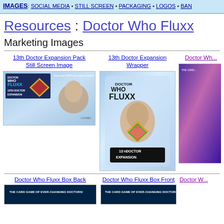IMAGES: SOCIAL MEDIA • STILL SCREEN • PACKAGING • LOGOS • BAN...
Resources : Doctor Who Fluxx
Marketing Images
13th Doctor Expansion Pack Still Screen Image
[Figure (photo): Doctor Who Fluxx 13th Doctor Expansion Pack still screen image thumbnail]
13th Doctor Expansion Wrapper
[Figure (photo): Doctor Who Fluxx 13th Doctor Expansion wrapper packaging image]
Doctor Wh...
[Figure (photo): Doctor Who Fluxx partial image - third column, partially cropped]
Doctor Who Fluxx Box Back
Doctor Who Fluxx Box Front
Doctor W...
[Figure (photo): Doctor Who Fluxx box back thumbnail - THE CARD GAME OF EVER-CHANGING DOCTORS]
[Figure (photo): Doctor Who Fluxx box front thumbnail - THE CARD GAME OF EVER-CHANGING DOCTORS]